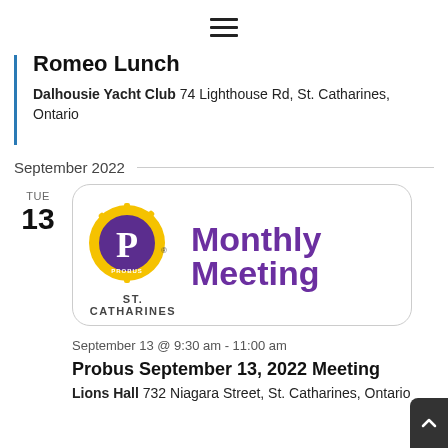[Figure (other): Hamburger menu icon (three horizontal lines)]
Romeo Lunch
Dalhousie Yacht Club 74 Lighthouse Rd, St. Catharines, Ontario
September 2022
[Figure (logo): Probus St. Catharines Monthly Meeting logo — circular Probus emblem with gold and purple P, text 'ST. CATHARINES' below, next to large purple text 'Monthly Meeting']
September 13 @ 9:30 am - 11:00 am
Probus September 13, 2022 Meeting
Lions Hall 732 Niagara Street, St. Catharines, Ontario